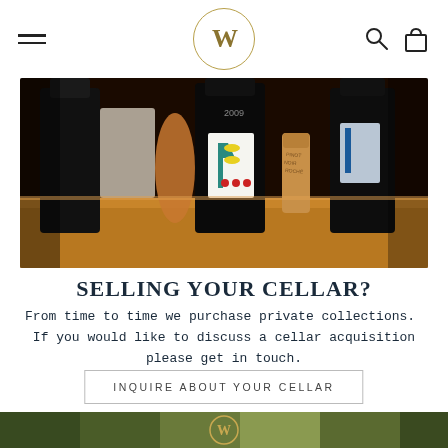W (logo in circle) — navigation header with hamburger menu, search icon, and bag icon
[Figure (photo): Close-up photograph of wine bottles and wine corks on a wooden surface, warm amber tones with dark bottle silhouettes]
SELLING YOUR CELLAR?
From time to time we purchase private collections.  If you would like to discuss a cellar acquisition please get in touch.
INQUIRE ABOUT YOUR CELLAR
[Figure (photo): Bottom strip showing partial image with W logo, appears to be another wine/cellar photo]